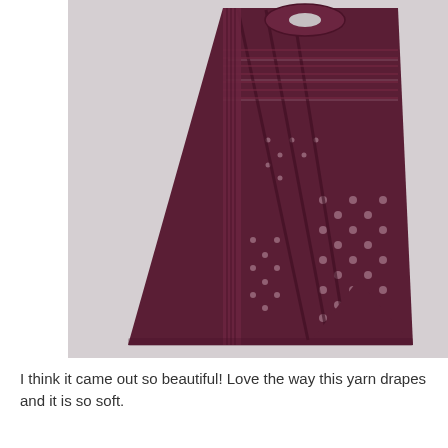[Figure (photo): A deep burgundy/plum knitted lace shawl with an asymmetrical triangular shape, showing open lace stitch patterns and textured stripes, displayed hanging against a light gray background.]
I think it came out so beautiful! Love the way this yarn drapes and it is so soft.